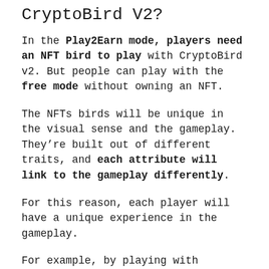CryptoBird V2?
In the Play2Earn mode, players need an NFT bird to play with CryptoBird v2. But people can play with the free mode without owning an NFT.
The NFTs birds will be unique in the visual sense and the gameplay. They’re built out of different traits, and each attribute will link to the gameplay differently.
For this reason, each player will have a unique experience in the gameplay.
For example, by playing with legendary wings on your bird, you will be able to control it much better and go through the levels.